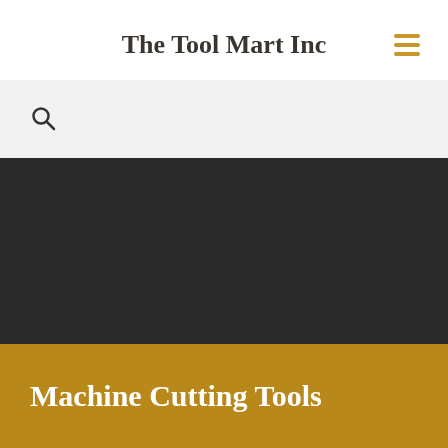The Tool Mart Inc
[Figure (screenshot): Search bar with magnifying glass icon on light grey background]
[Figure (photo): Dark/black background image area, appears to be a product or category hero image]
Machine Cutting Tools